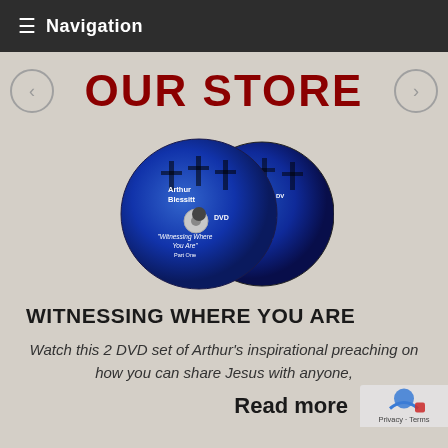Navigation
OUR STORE
[Figure (photo): Two blue DVDs labeled 'Arthur Blessitt - Witnessing Where You Are' Part One and Part Two]
WITNESSING WHERE YOU ARE
Watch this 2 DVD set of Arthur's inspirational preaching on how you can share Jesus with anyone,
Read more